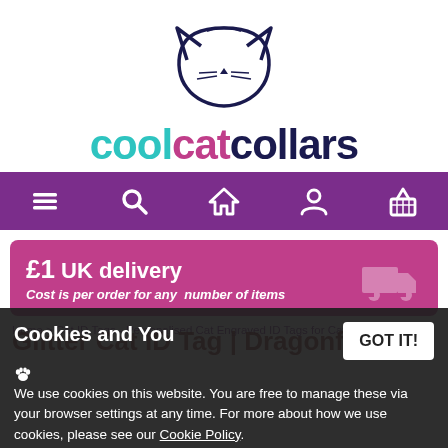[Figure (logo): Cool Cat Collars logo: cat face outline drawing above stylized text 'coolcatcollars' with 'cool' in teal, 'cat' in pink/magenta, 'collars' in dark navy]
[Figure (infographic): Purple navigation bar with white icons: hamburger menu, search magnifier, home/house, person/account, shopping basket]
[Figure (infographic): Magenta/pink rounded delivery banner: '£1 UK delivery' in bold white, 'Cost is per order for any number of items' in italic white, delivery truck icon on right]
Home > Cat ID Tags - Personalised Cat Engraved ID Tags for Cats
Glitter Cat ID Tag | Dragonfly
Cookies and You
We use cookies on this website. You are free to manage these via your browser settings at any time. For more about how we use cookies, please see our Cookie Policy.